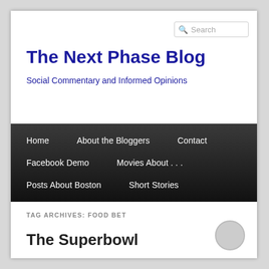Search
The Next Phase Blog
Social Commentary and Informed Opinions
Home
About the Bloggers
Contact
Facebook Demo
Movies About . . .
Posts About Boston
Short Stories
TAG ARCHIVES: FOOD BET
The Superbowl